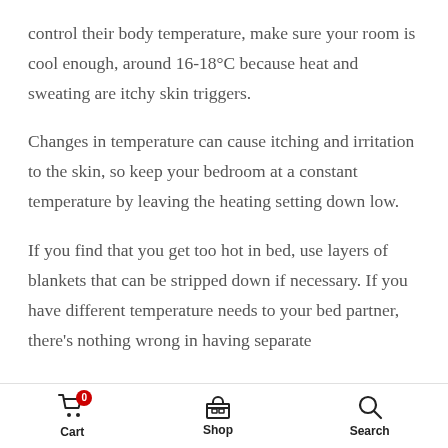control their body temperature, make sure your room is cool enough, around 16-18°C because heat and sweating are itchy skin triggers.
Changes in temperature can cause itching and irritation to the skin, so keep your bedroom at a constant temperature by leaving the heating setting down low.
If you find that you get too hot in bed, use layers of blankets that can be stripped down if necessary. If you have different temperature needs to your bed partner, there's nothing wrong in having separate
Cart  Shop  Search